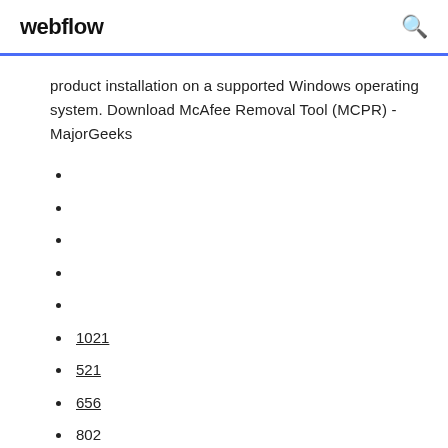webflow
product installation on a supported Windows operating system. Download McAfee Removal Tool (MCPR) - MajorGeeks
1021
521
656
802